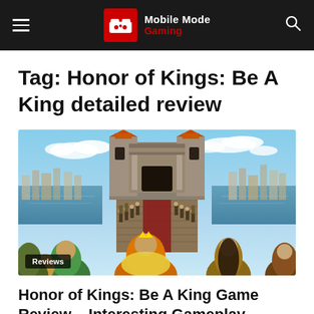Mobile Mode Gaming
Tag: Honor of Kings: Be A King detailed review
[Figure (screenshot): Game screenshot from Honor of Kings: Be A King showing fantasy castle entrance with game characters in foreground, soldiers lining a walkway, and a grand stone palace structure in background with a coastal city scene. A 'Reviews' badge overlays the bottom-left corner.]
Honor of Kings: Be A King Game Review – Interesting Gameplay
August 18, 2019